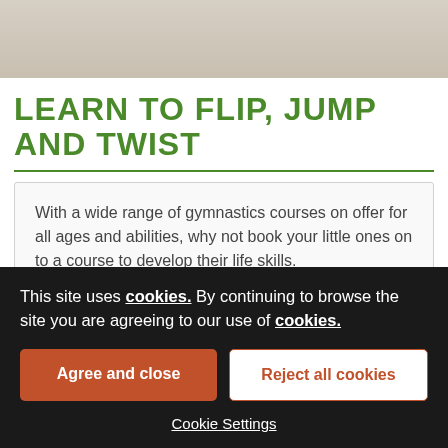[Figure (photo): Top portion of a gymnastics or sports image, partially cropped — beige/tan background visible]
LEARN TO FLIP, JUMP AND TWIST
With a wide range of gymnastics courses on offer for all ages and abilities, why not book your little ones on to a course to develop their life skills.
Not only does gymnastics provides a great opportunity for children to try a new sport, make friends and have fun, but
This site uses cookies. By continuing to browse the site you are agreeing to our use of cookies.
Agree and close
Reject all cookies
Cookie Settings